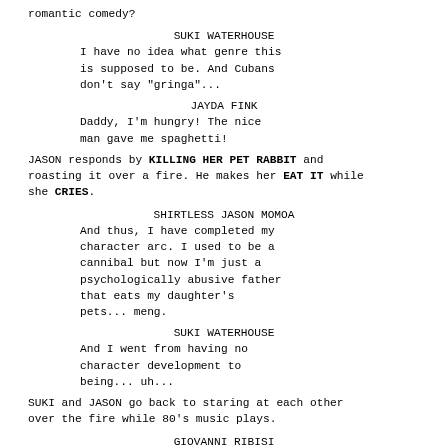romantic comedy?
SUKI WATERHOUSE
I have no idea what genre this is supposed to be. And Cubans don't say "gringa"...
JAYDA FINK
Daddy, I'm hungry! The nice man gave me spaghetti!
JASON responds by KILLING HER PET RABBIT and roasting it over a fire. He makes her EAT IT while she CRIES.
SHIRTLESS JASON MOMOA
And thus, I have completed my character arc. I used to be a cannibal but now I'm just a psychologically abusive father that eats my daughter's pets... meng.
SUKI WATERHOUSE
And I went from having no character development to being... uh...
SUKI and JASON go back to staring at each other over the fire while 80's music plays.
GIOVANNI RIBISI
(some content continues below)